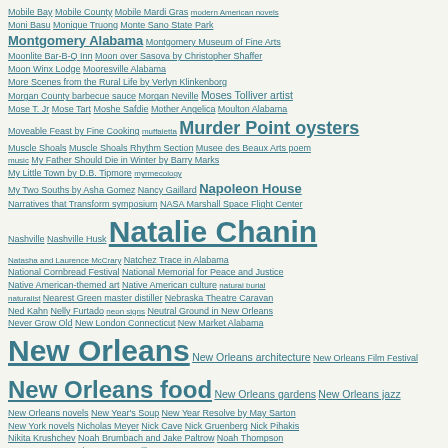Tag cloud index page containing entries from Mobile Bay through Olympics, including entries such as Mobile Bay, Mobile County, Mobile Mardi Gras, modern American novels, Moni Basu, Monique Truong, Monte Sano State Park, Montgomery Alabama, Montgomery Museum of Fine Arts, Moonlite Bar-B-Q Inn, Moon over Sasova by Christopher Shaffer, Moon Winx Lodge, Mooresville Alabama, More Scenes from the Rural Life by Verlyn Klinkenborg, Morgan County barbecue sauce, Morgan Neville, Moses Tolliver artist, Mose T. Jr, Mose Tart, Moshe Safdie, Mother Angelica, Moulton Alabama, Moveable Feast by Fine Cooking, muffaletta, Murder Point oysters, Muscle Shoals, Muscle Shoals Rhythm Section, Musee des Beaux Arts poem, music, My Father Should Die in Winter by Barry Marks, My Little Town by D.B. Tipmore, myrmecology, My Two Souths by Asha Gomez, Nancy Gaillard, Napoleon House, Narratives that Transform symposium, NASA Marshall Space Flight Center, Nashville, Nashville Husk, Natalie Chanin, Natasha and Laurence McCrary, Natchez Trace in Alabama, National Cornbread Festival, National Memorial for Peace and Justice, Native American-themed art, Native American culture, natural burial, naturalist, Nearest Green master distiller, Nebraska Theatre Caravan, Ned Kahn, Nelly Furtado, neon signs, Neutral Ground in New Orleans, Never Grow Old, New London Connecticut, New Market Alabama, New Orleans, New Orleans architecture, New Orleans Film Festival, New Orleans food, New Orleans gardens, New Orleans jazz, New Orleans novels, New Year's Soup, New Year Resolve by May Sarton, New York novels, Nicholas Meyer, Nick Cave, Nick Gruenberg, Nick Pihakis, Nikita Krushchev, Noah Brumbach and Jake Paltrow, Noah Thompson, No Farms No Food, Norman McMillan, Norman Rene, North Alabama Hallelujah Trail, North Carolina, Northport, Oakville Alabama, Oasis Bar and Grill, Ocean Restaurant Birmingham, Odili Donald Odita, Ohio River, Ohr-O'Keefe Museum of Art, Ole Miss dip, olive oil cake, Oliver Hotel, Oliver Royale, Olivier Messiaen, Olmsted Brothers, Olympics